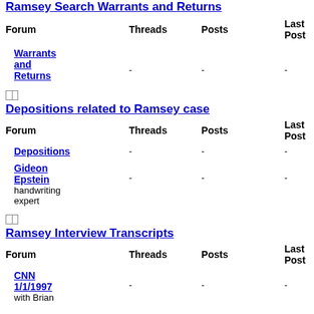Ramsey Search Warrants and Returns
| Forum | Threads | Posts | Last Post |
| --- | --- | --- | --- |
| Warrants and Returns | - | - | - |
Depositions related to Ramsey case
| Forum | Threads | Posts | Last Post |
| --- | --- | --- | --- |
| Depositions | - | - | - |
| Gideon Epstein handwriting expert | - | - | - |
Ramsey Interview Transcripts
| Forum | Threads | Posts | Last Post |
| --- | --- | --- | --- |
| CNN 1/1/1997 with Brian | - | - | - |